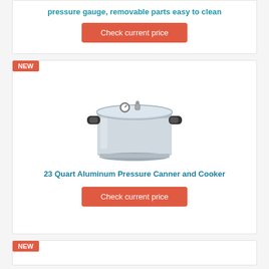pressure gauge, removable parts easy to clean
Check current price
NEW
[Figure (photo): 23 Quart Aluminum Pressure Canner and Cooker - large silver aluminum pressure cooker/canner with lid gauge and handles]
23 Quart Aluminum Pressure Canner and Cooker
Check current price
NEW